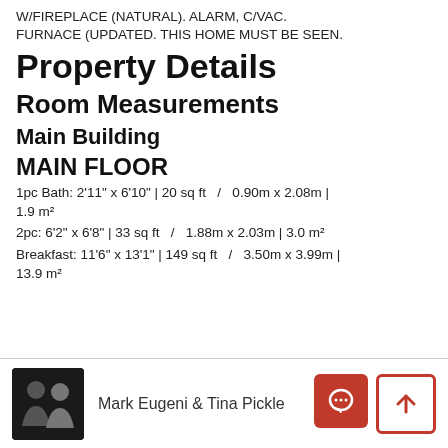W/FIREPLACE (NATURAL).  ALARM, C/VAC.  FURNACE (UPDATED.  THIS HOME MUST BE SEEN.
Property Details
Room Measurements
Main Building
MAIN FLOOR
1pc Bath: 2'11" x 6'10" | 20 sq ft   /   0.90m x 2.08m | 1.9 m²
2pc: 6'2" x 6'8" | 33 sq ft   /   1.88m x 2.03m | 3.0 m²
Breakfast: 11'6" x 13'1" | 149 sq ft   /   3.50m x 3.99m | 13.9 m²
Mark Eugeni & Tina Pickle